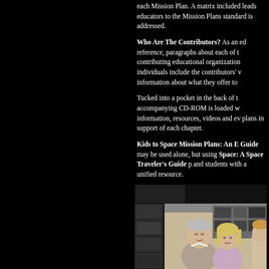each Mission Plan. A matrix included leads educators to the Mission Plans standard is addressed.
Who Are The Contributors? As an educational reference, paragraphs about each of the contributing educational organizations and individuals include the contributors' websites and information about what they offer to educators.
Tucked into a pocket in the back of the book, the accompanying CD-ROM is loaded with additional information, resources, videos and even more lesson plans in support of each chapter.
Kids to Space Mission Plans: An Educator's Guide may be used alone, but using it with Kids to Space: A Space Traveler's Guide provides educators and students with a unified resource.
[Figure (photo): A photograph showing people (at least two or three individuals including a man and women) in what appears to be an indoor setting with framed pictures/posters visible in the background on a dark wall.]